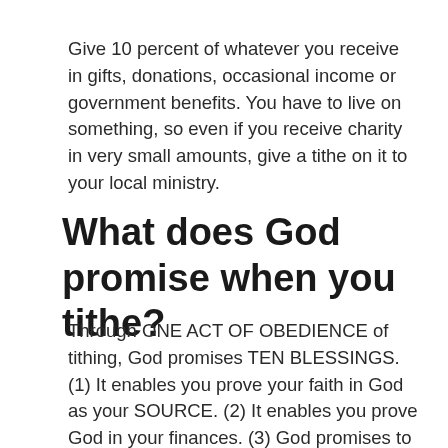Give 10 percent of whatever you receive in gifts, donations, occasional income or government benefits. You have to live on something, so even if you receive charity in very small amounts, give a tithe on it to your local ministry.
What does God promise when you tithe?
Through ONE ACT OF OBEDIENCE of tithing, God promises TEN BLESSINGS. (1) It enables you prove your faith in God as your SOURCE. (2) It enables you prove God in your finances. (3) God promises to open the windows of heaven upon you.